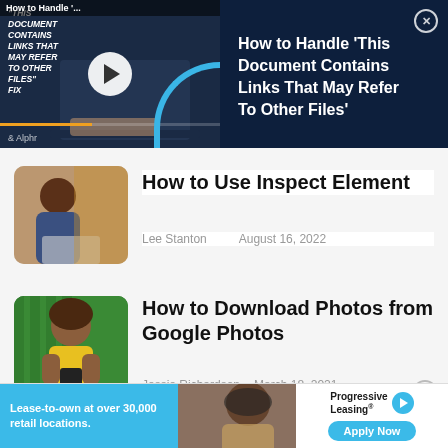[Figure (screenshot): Ad banner: video thumbnail on left showing laptop with play button and text overlay 'THIS DOCUMENT CONTAINS LINKS THAT MAY REFER TO OTHER FILES FIX' with Alphr logo; right panel dark blue with title 'How to Handle This Document Contains Links That May Refer To Other Files' and close button]
[Figure (photo): Article thumbnail: woman working at laptop]
How to Use Inspect Element
Lee Stanton   August 16, 2022
[Figure (photo): Article thumbnail: woman in yellow shirt holding phone, green background]
How to Download Photos from Google Photos
Jessie Richardson   March 18, 2021
[Figure (screenshot): Bottom advertisement banner for Progressive Leasing: 'Lease-to-own at over 30,000 retail locations.' Apply Now button]